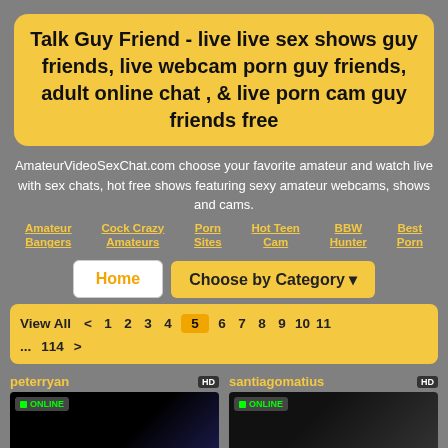Talk Guy Friend - live live sex shows guy friends, live webcam porn guy friends, adult online chat , & live porn cam guy friends free
AmateurVideoSexChat.com choose your favorite amateur and watch live with sex chats, hot free shows featuring sexy amateur webcams, shows and cams.
Amateur Bangers
Cock Crazy Amateurs
Porn Sites
Hot Teen Cam
BBW Hunter
Best Porn
Home | Choose by Category
View All  <  1  2  3  4  5  6  7  8  9  10  11  ...  114  >
peterryan  HD  ONLINE
santiagomatius  HD  ONLINE